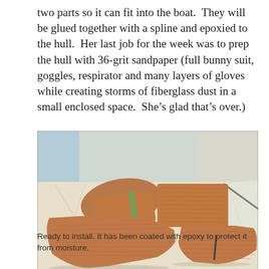two parts so it can fit into the boat.  They will be glued together with a spline and epoxied to the hull.  Her last job for the week was to prep the hull with 36-grit sandpaper (full bunny suit, goggles, respirator and many layers of gloves while creating storms of fiberglass dust in a small enclosed space.  She’s glad that’s over.)
[Figure (photo): Wooden boat parts laid out on a worktable covered with a light-coloured drop cloth. Two curved wooden panels and one rectangular wooden piece are visible, coated with epoxy, in what appears to be a workshop.]
Ready to install. It has been coated with epoxy to protect it from moisture.